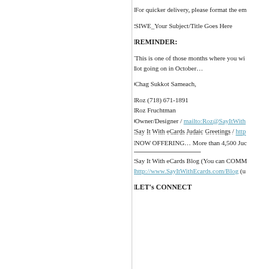For quicker delivery, please format the em
SIWE_Your Subject/Title Goes Here
REMINDER:
This is one of those months where you wi lot going on in October…
Chag Sukkot Sameach,
Roz (718) 671-1891
Roz Fruchtman
Owner/Designer / mailto:Roz@SayItWith
Say It With eCards Judaic Greetings / http
NOW OFFERING… More than 4,500 Juc
Say It With eCards Blog (You can COMM http://www.SayItWithEcards.com/Blog (u
LET's CONNECT